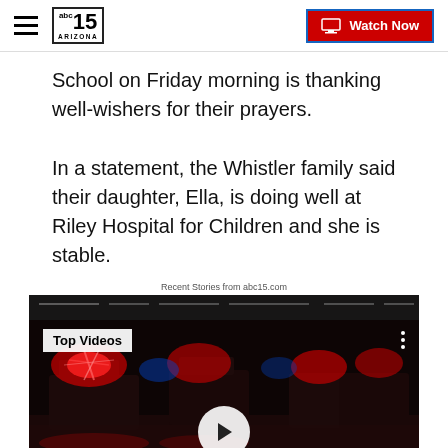abc15 ARIZONA — Watch Now
School on Friday morning is thanking well-wishers for their prayers.
In a statement, the Whistler family said their daughter, Ella, is doing well at Riley Hospital for Children and she is stable.
Recent Stories from abc15.com
[Figure (screenshot): Video player thumbnail showing emergency vehicles with flashing lights at night. Overlay shows 'Top Videos' badge in upper left, three-dot menu in upper right, and a white play button circle in the center-bottom area.]